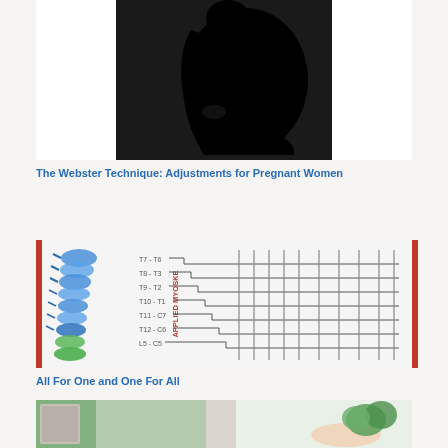[Figure (photo): Black silhouette of a pregnant woman's profile against a dark background, visible only the torso and belly]
The Webster Technique: Adjustments for Pregnant Women
[Figure (illustration): Medical diagram showing spine vertebrae (blue) on left with label 'APPLIED MYOSKE' and connecting lines to thoracic/lumbar segments labeled T7-T6, T8-T3, T9-T2, T10-T1, T11-C7, T12-C6, L5-C5, on a white background with vertical lines on right]
All For One and One For All
[Figure (photo): Partial view of a lower portion image — left side shows green/teal colored element and right side shows a hand holding green herbs/plant]